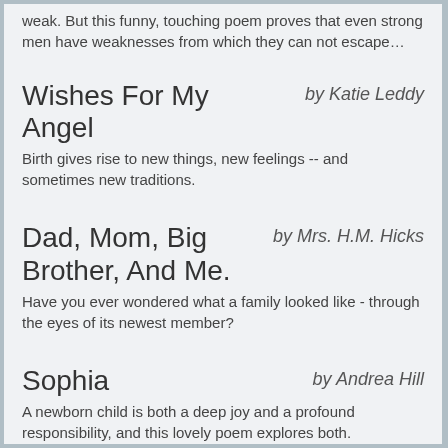weak. But this funny, touching poem proves that even strong men have weaknesses from which they can not escape…
Wishes For My Angel
by Katie Leddy
Birth gives rise to new things, new feelings -- and sometimes new traditions.
Dad, Mom, Big Brother, And Me.
by Mrs. H.M. Hicks
Have you ever wondered what a family looked like - through the eyes of its newest member?
Sophia
by Andrea Hill
A newborn child is both a deep joy and a profound responsibility, and this lovely poem explores both.